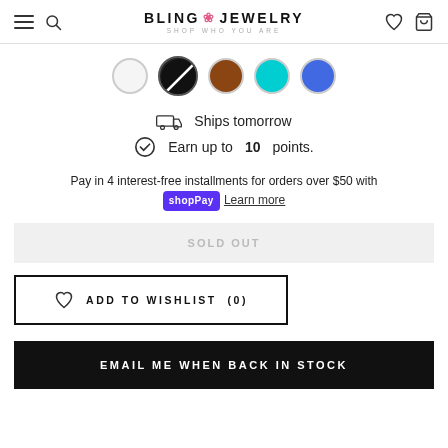BLING JEWELRY — SHOP WHO YOU ARE
[Figure (illustration): Row of color swatches: white, black/diagonal, brown, cyan, blue]
Ships tomorrow
Earn up to 10 points.
Pay in 4 interest-free installments for orders over $50 with shopPay  Learn more
SOLD OUT
ADD TO WISHLIST  (0)
EMAIL ME WHEN BACK IN STOCK